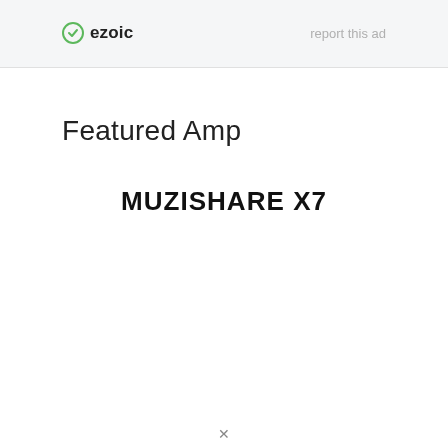ezoic   report this ad
Featured Amp
MUZISHARE X7